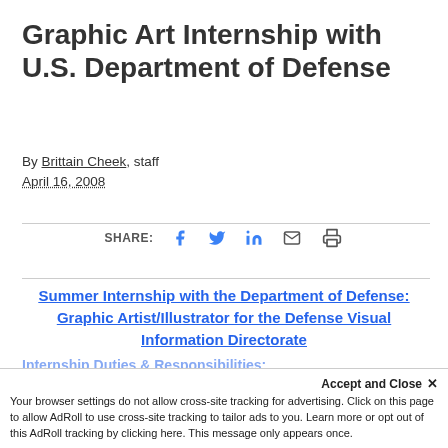Graphic Art Internship with U.S. Department of Defense
By Brittain Cheek, staff
April 16, 2008
[Figure (infographic): Social share bar with icons for Facebook, Twitter, LinkedIn, Email, and Print]
Summer Internship with the Department of Defense: Graphic Artist/Illustrator for the Defense Visual Information Directorate
Internship Duties & Responsibilities:
Accept and Close ✕
Your browser settings do not allow cross-site tracking for advertising. Click on this page to allow AdRoll to use cross-site tracking to tailor ads to you. Learn more or opt out of this AdRoll tracking by clicking here. This message only appears once.